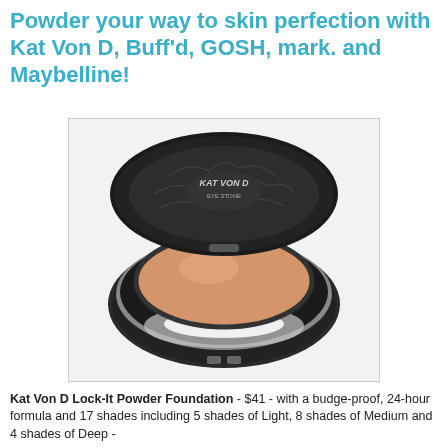Powder your way to skin perfection with Kat Von D, Buff'd, GOSH, mark. and Maybelline!
[Figure (photo): Kat Von D Lock-It Powder Foundation compact, open, showing beige powder pan and black decorative lid with ornate tattoo-style branding. Black compact with mirror and powder puff visible.]
Kat Von D Lock-It Powder Foundation - $41 - with a budge-proof, 24-hour formula and 17 shades including 5 shades of Light, 8 shades of Medium and 4 shades of Deep -